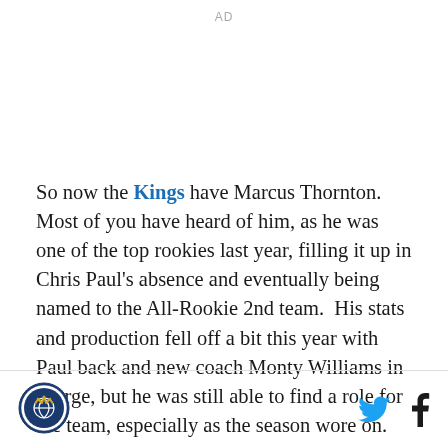AD
So now the Kings have Marcus Thornton.  Most of you have heard of him, as he was one of the top rookies last year, filling it up in Chris Paul's absence and eventually being named to the All-Rookie 2nd team.  His stats and production fell off a bit this year with Paul back and new coach Monty Williams in charge, but he was still able to find a role for the team, especially as the season wore on.
[Figure (logo): Sacramento Kings circular logo with crown and basketball]
[Figure (other): Twitter and Facebook social media icons]